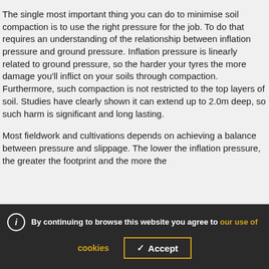The single most important thing you can do to minimise soil compaction is to use the right pressure for the job. To do that requires an understanding of the relationship between inflation pressure and ground pressure. Inflation pressure is linearly related to ground pressure, so the harder your tyres the more damage you'll inflict on your soils through compaction. Furthermore, such compaction is not restricted to the top layers of soil. Studies have clearly shown it can extend up to 2.0m deep, so such harm is significant and long lasting.
Most fieldwork and cultivations depends on achieving a balance between pressure and slippage. The lower the inflation pressure, the greater the footprint and the more the
By continuing to browse this website you agree to our use of cookies
Accept